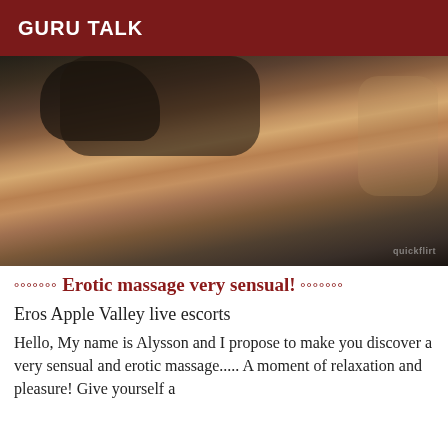GURU TALK
[Figure (photo): Close-up photo of a person wearing black leather clothing]
°°°°°°° Erotic massage very sensual! °°°°°°°
Eros Apple Valley live escorts
Hello, My name is Alysson and I propose to make you discover a very sensual and erotic massage..... A moment of relaxation and pleasure! Give yourself a